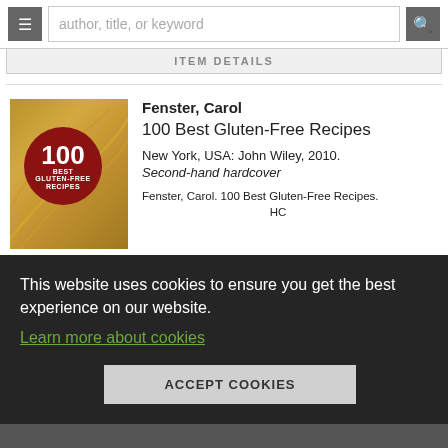author, title, or keyword
ITEM DETAILS
Fenster, Carol
100 Best Gluten-Free Recipes
New York, USA: John Wiley, 2010.
Second-hand hardcover
Fenster, Carol. 100 Best Gluten-Free Recipes. HC
[Figure (photo): Book cover of '100 Best Gluten-Free Recipes' with gold pasta swirl background and red circle badge showing '100 BEST GLUTEN-FREE RECIPES']
This website uses cookies to ensure you get the best experience on our website.
Learn more about cookies
ACCEPT COOKIES